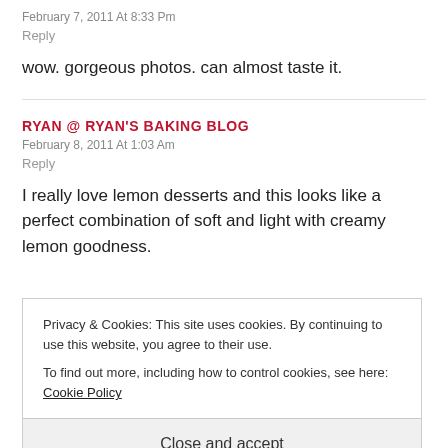February 7, 2011 At 8:33 Pm
Reply
wow. gorgeous photos. can almost taste it.
RYAN @ RYAN'S BAKING BLOG
February 8, 2011 At 1:03 Am
Reply
I really love lemon desserts and this looks like a perfect combination of soft and light with creamy lemon goodness.
Privacy & Cookies: This site uses cookies. By continuing to use this website, you agree to their use.
To find out more, including how to control cookies, see here: Cookie Policy
Close and accept
LCUY